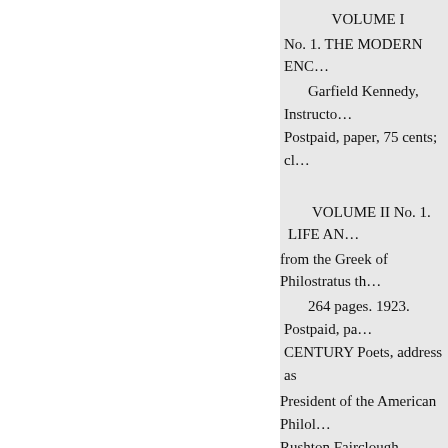VOLUME I
No. 1. THE MODERN ENC…
Garfield Kennedy, Instructor… Postpaid, paper, 75 cents; cl…
VOLUME II No. 1. LIFE AN…
from the Greek of Philostratus th…
264 pages. 1923. Postpaid, pa… CENTURY Poets, address as
President of the American Philol… Rushton Fairclough, Professor o… $1.00.
VOLUME III No. 1. CUENTO…
Professor of Romanic Langua…
paper, $1.75; cloth, $2.50. No. 2.…
Professor of Romanic Langua…
paper, $1.75; cloth, $2.50. No. 3.…
Professor of Romanic Languages…